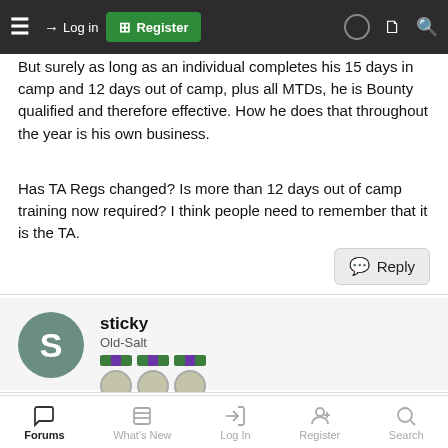Log in | Register
But surely as long as an individual completes his 15 days in camp and 12 days out of camp, plus all MTDs, he is Bounty qualified and therefore effective. How he does that throughout the year is his own business.
Has TA Regs changed? Is more than 12 days out of camp training now required? I think people need to remember that it is the TA.
Reply
sticky
Old-Salt
7 Feb 2007 #4
Further to what mr_logic has just said surely any unit trying to
Forums | What's New | Log In | Register | Search